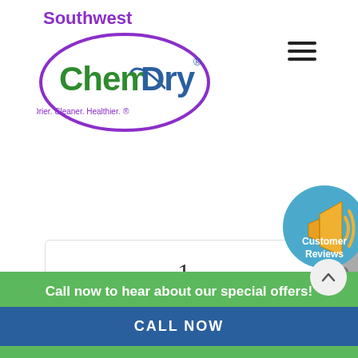[Figure (logo): Southwest Chem-Dry logo with purple oval, green and blue text, tagline Drier. Cleaner. Healthier.]
[Figure (illustration): Hamburger menu icon (three horizontal lines) in top right]
[Figure (illustration): Customer Reviews badge - circular blue badge with megaphone icon]
[Figure (other): Slider navigation dots on right side]
1.
Call now to hear about our special offers!
CALL NOW